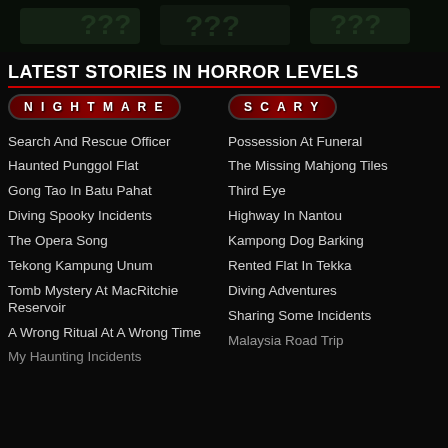[Figure (illustration): Dark top banner image with green-tinted horror imagery on black background]
LATEST STORIES IN HORROR LEVELS
NIGHTMARE badge label
Search And Rescue Officer
Haunted Punggol Flat
Gong Tao In Batu Pahat
Diving Spooky Incidents
The Opera Song
Tekong Kampung Unum
Tomb Mystery At MacRitchie Reservoir
A Wrong Ritual At A Wrong Time
My Haunting Incidents
SCARY badge label
Possession At Funeral
The Missing Mahjong Tiles
Third Eye
Highway In Nantou
Kampong Dog Barking
Rented Flat In Tekka
Diving Adventures
Sharing Some Incidents
Malaysia Road Trip